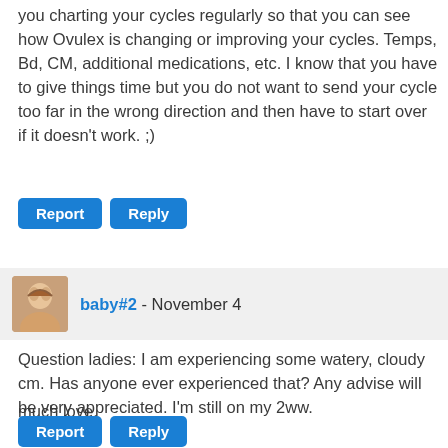you charting your cycles regularly so that you can see how Ovulex is changing or improving your cycles. Temps, Bd, CM, additional medications, etc. I know that you have to give things time but you do not want to send your cycle too far in the wrong direction and then have to start over if it doesn't work. ;)
Report | Reply
baby#2 - November 4
Question ladies: I am experiencing some watery, cloudy cm. Has anyone ever experienced that? Any advise will be very appreciated. I'm still on my 2ww.

much love,
baby#2
Report | Reply